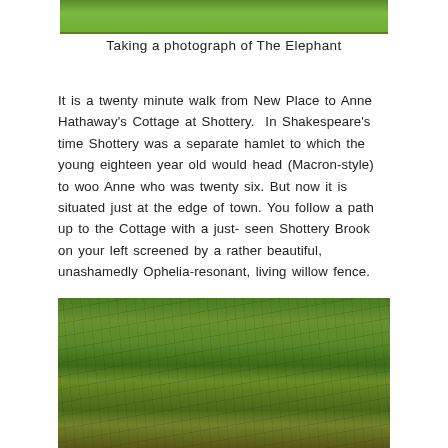[Figure (photo): Top portion of an outdoor photograph showing green grass, cropped at the top of the page]
Taking a photograph of The Elephant
It is a twenty minute walk from New Place to Anne Hathaway's Cottage at Shottery.  In Shakespeare's time Shottery was a separate hamlet to which the young eighteen year old would head (Macron-style) to woo Anne who was twenty six. But now it is situated just at the edge of town. You follow a path up to the Cottage with a just- seen Shottery Brook on your left screened by a rather beautiful, unashamedly Ophelia-resonant, living willow fence.
[Figure (photo): Photograph of a living willow fence with dense green willow shoots and branches interwoven, some brown woody stems visible at the base]